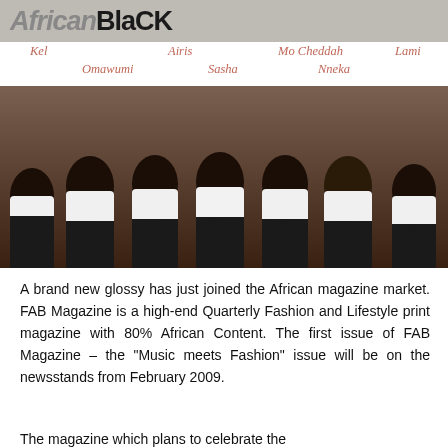[Figure (photo): Group photo of seven African women wearing white 'I am FAB' tank tops, posed together. Names labeled above: Kel, Omawumi, Airis, Sasha, Mo Cheddah, Nneka, Lami. African Black magazine logo visible at top.]
A brand new glossy has just joined the African magazine market. FAB Magazine is a high-end Quarterly Fashion and Lifestyle print magazine with 80% African Content. The first issue of FAB Magazine – the "Music meets Fashion" issue will be on the newsstands from February 2009.
The magazine which plans to celebrate the